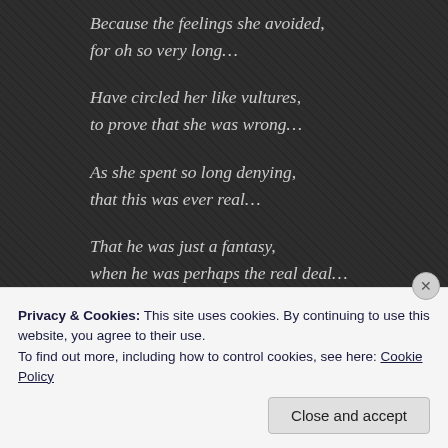Because the feelings she avoided,
for oh so very long…

Have circled her like vultures,
to prove that she was wrong…

As she spent so long denying,
that this was ever real…

That he was just a fantasy,
when he was perhaps the real deal…

And he had found a place,
deep inside her heart…

Forcing her to love him and
she knew it from the start…
Privacy & Cookies: This site uses cookies. By continuing to use this website, you agree to their use.
To find out more, including how to control cookies, see here: Cookie Policy
Close and accept